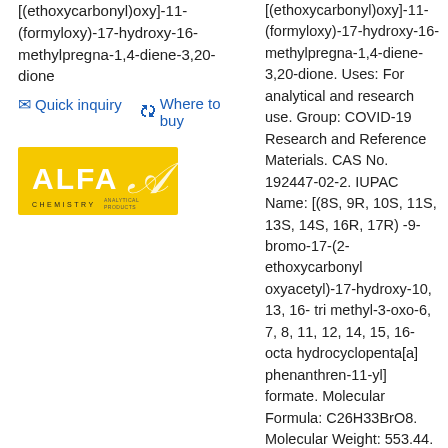[(ethoxycarbonyl)oxy]-11-(formyloxy)-17-hydroxy-16-methylpregna-1,4-diene-3,20-dione
Quick inquiry
Where to buy
[Figure (logo): Alfa Chemistry logo - yellow rectangle with white ALFA text and stylized A symbol]
[(ethoxycarbonyl)oxy]-11-(formyloxy)-17-hydroxy-16-methylpregna-1,4-diene-3,20-dione. Uses: For analytical and research use. Group: COVID-19 Research and Reference Materials. CAS No. 192447-02-2. IUPAC Name: [(8S, 9R, 10S, 11S, 13S, 14S, 16R, 17R)-9-bromo-17-(2-ethoxycarbonyloxyacetyl)-17-hydroxy-10,13,16-trimethyl-3-oxo-6,7,8,11,12,14,15,16-octahydrocyclopenta[a]phenanthren-11-yl]formate. Molecular Formula: C26H33BrO8. Molecular Weight: 553.44. Catalog: APS192447022. SMILES: CCOC(=O)OCC(=O)[C@@]1(O)[C@H](C)C[C@H]2[C@@H]3CCC4=CC(=O)C=C[C@]4(C)[C@@]3(Br)